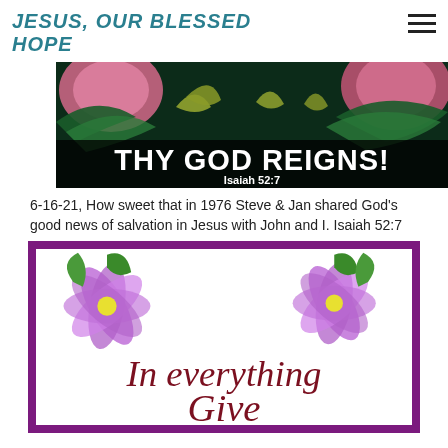JESUS, OUR BLESSED HOPE
[Figure (illustration): Dark tropical background with pink flowers and green palm leaves, text overlay reading 'THY GOD REIGNS!' and 'Isaiah 52:7' in white]
6-16-21, How sweet that in 1976 Steve & Jan shared God's good news of salvation in Jesus with John and I. Isaiah 52:7
[Figure (illustration): Purple-bordered decorative frame with purple hibiscus flowers in top corners on white background, cursive dark red text reading 'In everything Give']